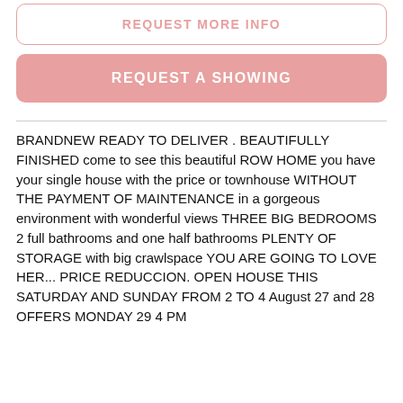REQUEST MORE INFO
REQUEST A SHOWING
BRANDNEW READY TO DELIVER . BEAUTIFULLY FINISHED come to see this beautiful ROW HOME you have your single house with the price or townhouse WITHOUT THE PAYMENT OF MAINTENANCE in a gorgeous environment with wonderful views THREE BIG BEDROOMS 2 full bathrooms and one half bathrooms PLENTY OF STORAGE with big crawlspace YOU ARE GOING TO LOVE HER... PRICE REDUCCION. OPEN HOUSE THIS SATURDAY AND SUNDAY FROM 2 TO 4 August 27 and 28 OFFERS MONDAY 29 4 PM